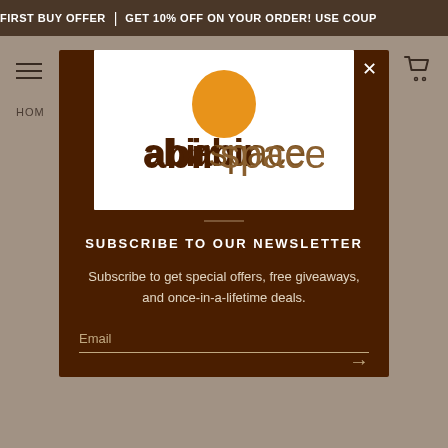FIRST BUY OFFER | GET 10% OFF ON YOUR ORDER! USE COUP
[Figure (screenshot): Website navigation area with hamburger menu and cart icon on beige background]
HOM
[Figure (logo): abirspace logo: orange circle above brown text 'abirspace' on white background]
SUBSCRIBE TO OUR NEWSLETTER
Subscribe to get special offers, free giveaways, and once-in-a-lifetime deals.
Email